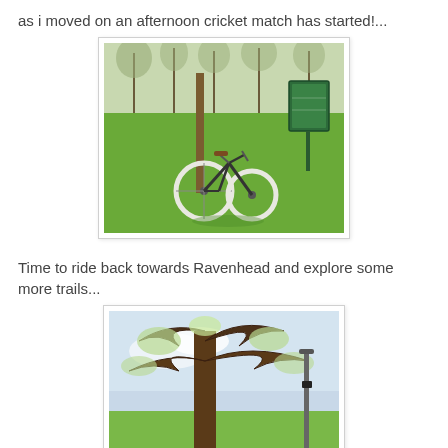as i moved on an afternoon cricket match has started!...
[Figure (photo): A bicycle leaned against a wooden post in a green park, with bare trees and a green information board visible in the background.]
Time to ride back towards Ravenhead and explore some more trails...
[Figure (photo): A large tree with spreading branches against a bright sky, with green fields and a lamp post visible in the background.]